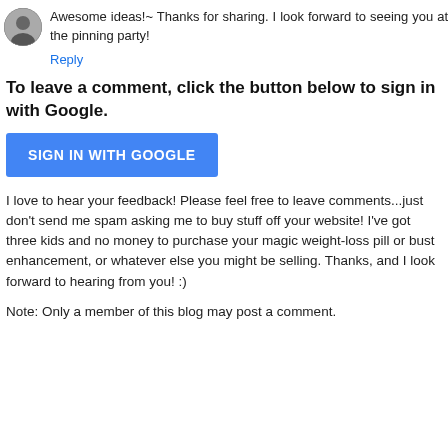[Figure (photo): Small circular avatar photo of a person in black and white]
Awesome ideas!~ Thanks for sharing. I look forward to seeing you at the pinning party!
Reply
To leave a comment, click the button below to sign in with Google.
[Figure (other): Blue button labeled SIGN IN WITH GOOGLE]
I love to hear your feedback! Please feel free to leave comments...just don't send me spam asking me to buy stuff off your website! I've got three kids and no money to purchase your magic weight-loss pill or bust enhancement, or whatever else you might be selling. Thanks, and I look forward to hearing from you! :)
Note: Only a member of this blog may post a comment.